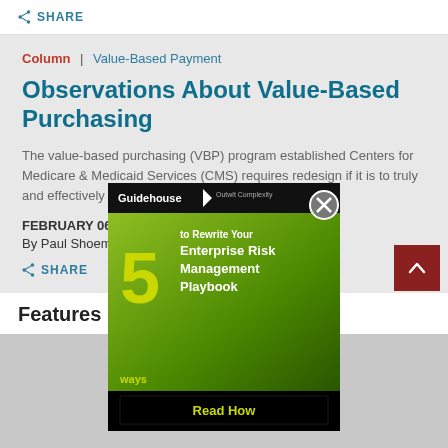SHARE
Column | Value-Based Payment
Observations About Value-Based Purchasing
The value-based purchasing (VBP) program established Centers for Medicare & Medicaid Services (CMS) requires redesign if it is to truly and effectively drive healthcare quality improve…
FEBRUARY 06, 20…
By Paul Shoemake…
[Figure (infographic): Guidehouse Outwit Complexity advertisement popup showing '5 ways to Rewrite Your Enterprise Risk Management Playbook' with a Read How CTA button on black background. Green background with yellow number 5.]
SHARE
Features